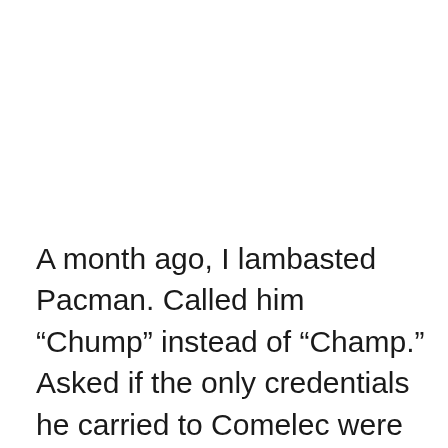A month ago, I lambasted Pacman. Called him “Chump” instead of “Champ.” Asked if the only credentials he carried to Comelec were his lethal left hook and his “This is for the Gods” broken English. Everybody in this archipelago—excluding, of course, his lawyer, wife, and dog—disapproved